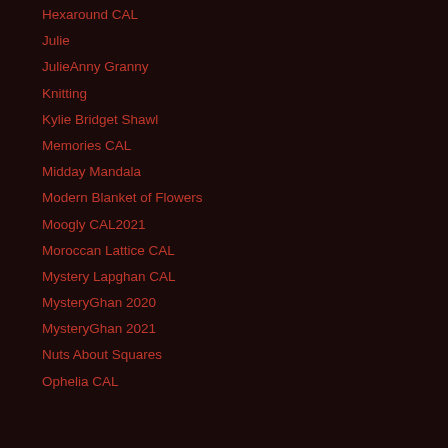Hexaround CAL
Julie
JulieAnny Granny
Knitting
Kylie Bridget Shawl
Memories CAL
Midday Mandala
Modern Blanket of Flowers
Moogly CAL2021
Moroccan Lattice CAL
Mystery Lapghan CAL
MysteryGhan 2020
MysteryGhan 2021
Nuts About Squares
Ophelia CAL